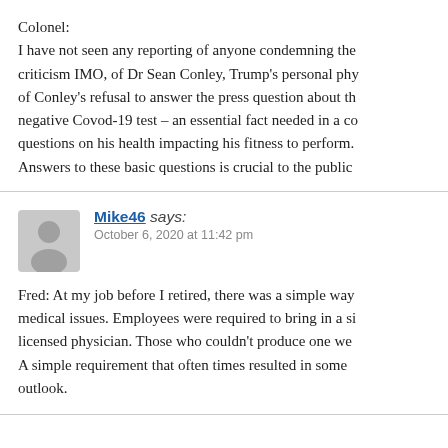Colonel:
I have not seen any reporting of anyone condemning th... criticism IMO, of Dr Sean Conley, Trump's personal ph... of Conley's refusal to answer the press question about t... negative Covod-19 test – an essential fact needed in a c... questions on his health impacting his fitness to perform... Answers to these basic questions is crucial to the publi...
Mike46 says:
October 6, 2020 at 11:42 pm

Fred: At my job before I retired, there was a simple wa... medical issues. Employees were required to bring in a s... licensed physician. Those who couldn't produce one w... A simple requirement that often times resulted in some... outlook.